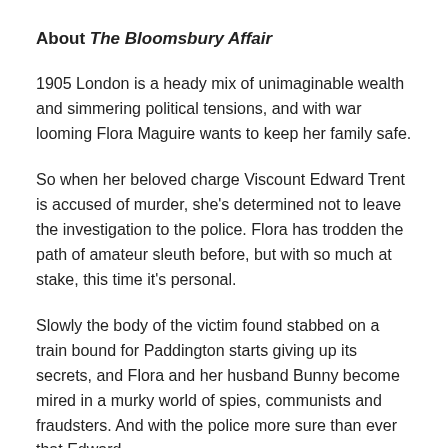About The Bloomsbury Affair
1905 London is a heady mix of unimaginable wealth and simmering political tensions, and with war looming Flora Maguire wants to keep her family safe.
So when her beloved charge Viscount Edward Trent is accused of murder, she's determined not to leave the investigation to the police. Flora has trodden the path of amateur sleuth before, but with so much at stake, this time it's personal.
Slowly the body of the victim found stabbed on a train bound for Paddington starts giving up its secrets, and Flora and her husband Bunny become mired in a murky world of spies, communists and fraudsters. And with the police more sure than ever that Edward